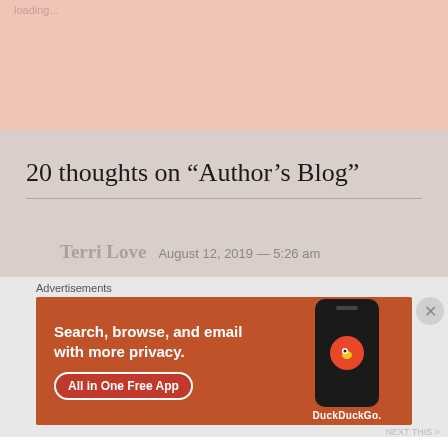loading...
20 thoughts on “Author’s Blog”
Terri Love  August 12, 2019 — 5:26 am
Advertisements
[Figure (screenshot): DuckDuckGo advertisement banner showing a phone with DuckDuckGo logo, text 'Search, browse, and email with more privacy. All in One Free App', orange background]